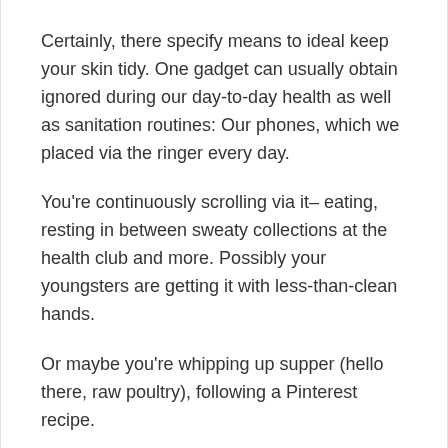Certainly, there specify means to ideal keep your skin tidy. One gadget can usually obtain ignored during our day-to-day health as well as sanitation routines: Our phones, which we placed via the ringer every day.
You're continuously scrolling via it– eating, resting in between sweaty collections at the health club and more. Possibly your youngsters are getting it with less-than-clean hands.
Or maybe you're whipping up supper (hello there, raw poultry), following a Pinterest recipe.
There's a great deal of germs as well as bacteria hanging about on your things.